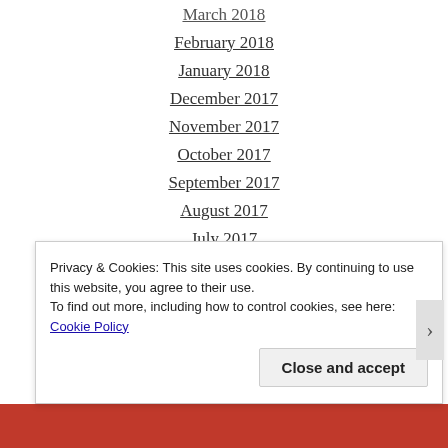March 2018
February 2018
January 2018
December 2017
November 2017
October 2017
September 2017
August 2017
July 2017
June 2017
May 2017
April 2017
March 2017
February 2017
Privacy & Cookies: This site uses cookies. By continuing to use this website, you agree to their use. To find out more, including how to control cookies, see here: Cookie Policy
Close and accept